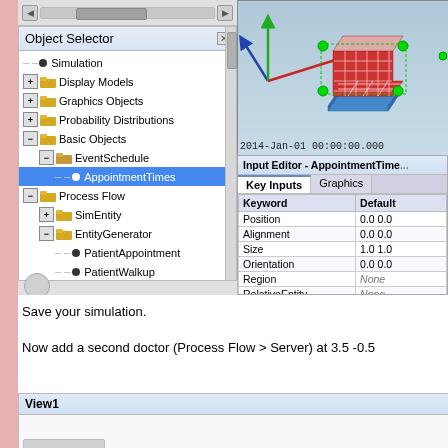[Figure (screenshot): Software UI screenshot showing Object Selector panel with tree hierarchy including Simulation, Display Models, Graphics Objects, Probability Distributions, Basic Objects (expanded to show EventSchedule > AppointmentTimes selected in blue), Process Flow (expanded to show SimEntity, EntityGenerator with PatientAppointment and PatientWalkup, EntitySink, Server, Queue, EntityConveyor, Statistics). Right side shows 3D viewport with calendar object and transform handles, timestamp '2014-Jan-01 00:00:00.000', and Input Editor panel showing AppointmentTimes properties with Key Inputs/Graphics tabs, table with Keyword/Default columns showing Position (0.0 0.0), Alignment (0.0 0.0), Size (1.0 1.0), Orientation (0.0 0.0), Region (None), RelativeEntity (None), DisplayModel (EventSc...), Show (TRUE).]
Save your simulation.
Now add a second doctor (Process Flow > Server) at 3.5 -0.5
[Figure (screenshot): Partial screenshot showing bottom of View1 panel.]